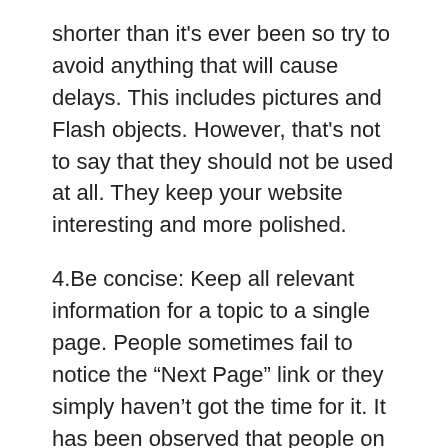shorter than it's ever been so try to avoid anything that will cause delays. This includes pictures and Flash objects. However, that's not to say that they should not be used at all. They keep your website interesting and more polished.
4.Be concise: Keep all relevant information for a topic to a single page. People sometimes fail to notice the “Next Page” link or they simply haven’t got the time for it. It has been observed that people on the Internet merely scan texts instead of reading properly, so try to keep details to a minimum. No one likes to scroll down for ages in order to find what they are looking for.
5.Technical Terms: Care should be taken to identify your target audience. If you expect your website to be